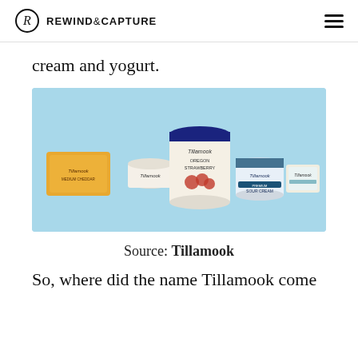REWIND&CAPTURE
cream and yogurt.
[Figure (photo): Five Tillamook brand dairy products on a light blue background: a block of cheese (Tillamook Medium Cheddar), a small yogurt cup, a large ice cream container (Oregon Strawberry), a sour cream container (Tillamook Premium Sour Cream), and a small cream cheese block.]
Source: Tillamook
So, where did the name Tillamook come